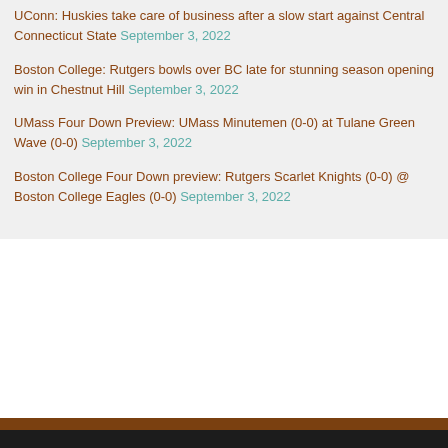UConn: Huskies take care of business after a slow start against Central Connecticut State September 3, 2022
Boston College: Rutgers bowls over BC late for stunning season opening win in Chestnut Hill September 3, 2022
UMass Four Down Preview: UMass Minutemen (0-0) at Tulane Green Wave (0-0) September 3, 2022
Boston College Four Down preview: Rutgers Scarlet Knights (0-0) @ Boston College Eagles (0-0) September 3, 2022